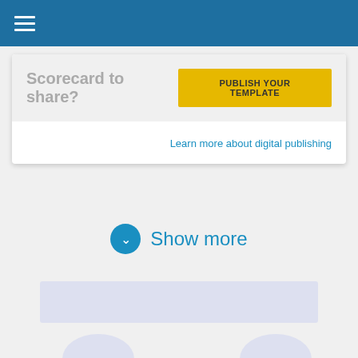Scorecard to share?
PUBLISH YOUR TEMPLATE
Learn more about digital publishing
Show more
[Figure (other): Placeholder bar and two partial circles at the bottom of the screen representing loading content]